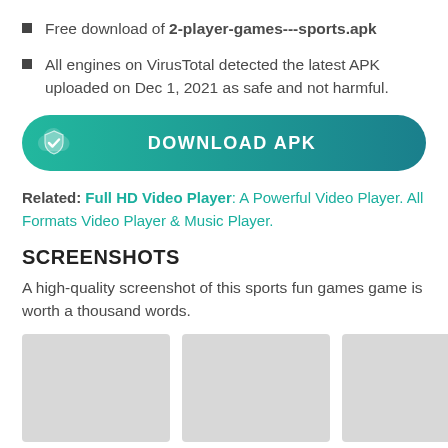Free download of 2-player-games---sports.apk
All engines on VirusTotal detected the latest APK uploaded on Dec 1, 2021 as safe and not harmful.
[Figure (other): Green gradient download button with shield checkmark icon and text DOWNLOAD APK]
Related: Full HD Video Player: A Powerful Video Player. All Formats Video Player & Music Player.
SCREENSHOTS
A high-quality screenshot of this sports fun games game is worth a thousand words.
[Figure (screenshot): Three placeholder screenshot thumbnail images shown side by side, light gray rectangles]